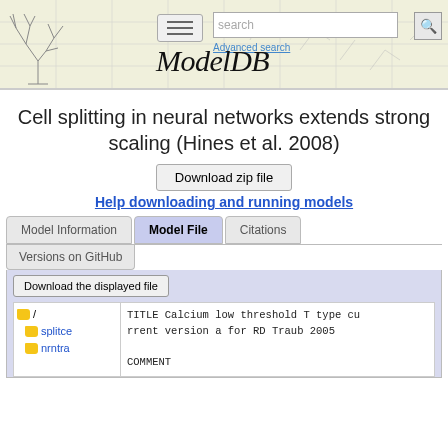[Figure (screenshot): ModelDB website header banner with tree logo, hamburger menu button, search box, Advanced search link, and ModelDB italic title]
Cell splitting in neural networks extends strong scaling (Hines et al. 2008)
Download zip file
Help downloading and running models
Model Information | Model File | Citations | Versions on GitHub
Download the displayed file
/ splitce nrntra
TITLE Calcium low threshold T type current version a for RD Traub 2005

COMMENT